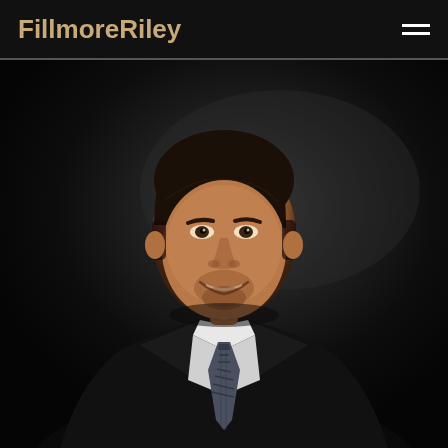FillmoreRiley
[Figure (photo): Professional headshot of a man in a dark suit with a plaid tie, smiling, against a dark background. The photo is a formal lawyer/professional portrait associated with FillmoreRiley law firm.]